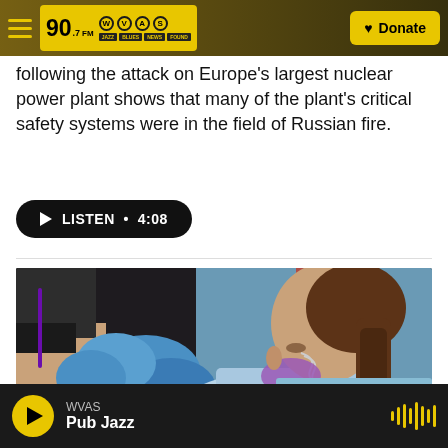[Figure (screenshot): WVAS 90.7 FM radio station header bar with hamburger menu, logo, and Donate button]
following the attack on Europe's largest nuclear power plant shows that many of the plant's critical safety systems were in the field of Russian fire.
[Figure (other): Listen button with play icon, showing duration 4:08]
[Figure (photo): Photo of a child in a light blue shirt with braided hair wearing a mask, being administered a vaccine by a healthcare worker wearing blue gloves]
WVAS Pub Jazz